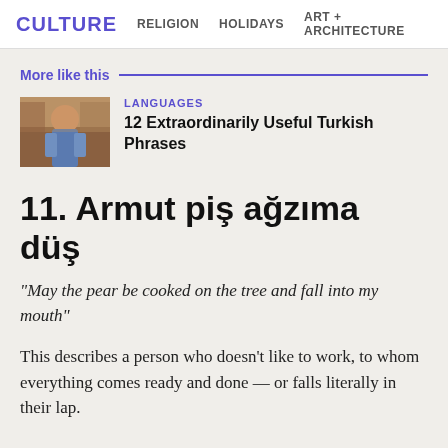CULTURE   RELIGION   HOLIDAYS   ART + ARCHITECTURE
More like this
[Figure (photo): Photo of a woman in a colorful market setting]
LANGUAGES
12 Extraordinarily Useful Turkish Phrases
11. Armut piş ağzıma düş
“May the pear be cooked on the tree and fall into my mouth”
This describes a person who doesn’t like to work, to whom everything comes ready and done — or falls literally in their lap.